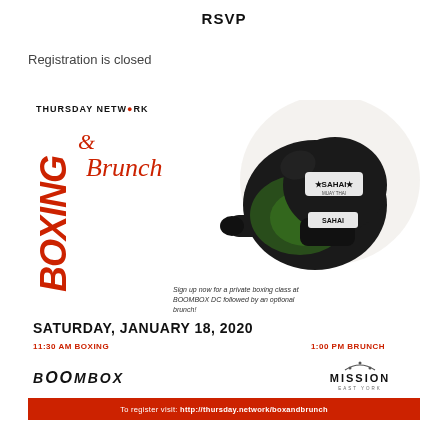RSVP
Registration is closed
[Figure (illustration): Event flyer for Thursday Network Boxing & Brunch on Saturday, January 18, 2020. Features large red BOXING text vertically on left, script Brunch text, cast iron pan with boxing gloves image, event details, BOOMBOX and MISSION logos, and red footer with registration URL.]
To register visit: http://thursday.network/boxandbrunch